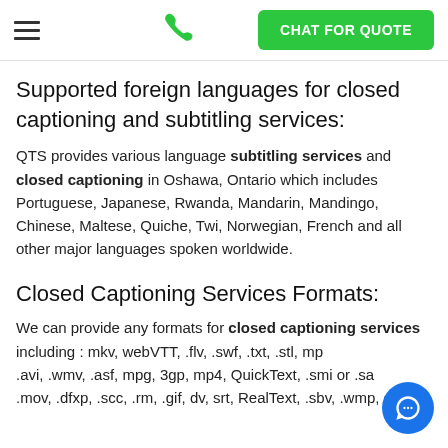☰  📞  CHAT FOR QUOTE
Supported foreign languages for closed captioning and subtitling services:
QTS provides various language subtitling services and closed captioning in Oshawa, Ontario which includes Portuguese, Japanese, Rwanda, Mandarin, Mandingo, Chinese, Maltese, Quiche, Twi, Norwegian, French and all other major languages spoken worldwide.
Closed Captioning Services Formats:
We can provide any formats for closed captioning services including : mkv, webVTT, .flv, .swf, .txt, .stl, mp .avi, .wmv, .asf, mpg, 3gp, mp4, QuickText, .smi or .sa .mov, .dfxp, .scc, .rm, .gif, dv, srt, RealText, .sbv, .wmp, dv